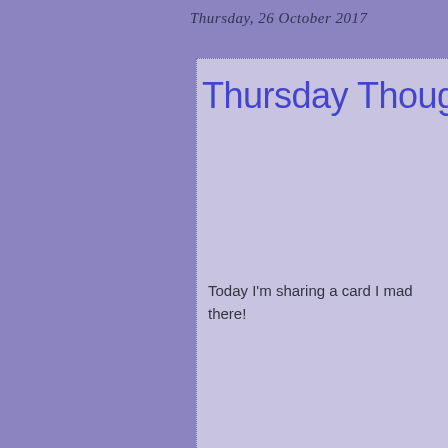Thursday, 26 October 2017
Thursday Thought
Today I'm sharing a card I mad there!